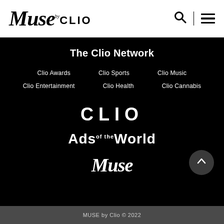Muse by CLIO
The Clio Network
Clio Awards
Clio Sports
Clio Music
Clio Entertainment
Clio Health
Clio Cannabis
[Figure (logo): CLIO logo in large white sans-serif letters]
[Figure (logo): Ads of the World logo in large white sans-serif letters]
[Figure (logo): Muse logo in large white script letters]
MUSE by Clio © 2022